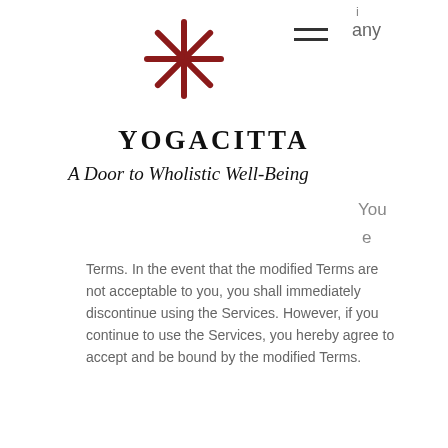[Figure (logo): Red asterisk/snowflake star logo for Yogacitta]
YOGACITTA
A Door to Wholistic Well-Being
Terms. In the event that the modified Terms are not acceptable to you, you shall immediately discontinue using the Services. However, if you continue to use the Services, you hereby agree to accept and be bound by the modified Terms.
ELECTRONIC COMMUNICATION (EMAIL)
Your consent to receiving communications from www.yogacitta.in electronically. will communicate with Users by email or by posting offers on the Site.